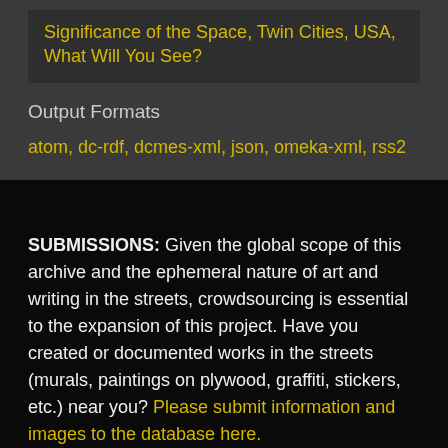Significance of the Space, Twin Cities, USA, What Will You See?
Output Formats
atom, dc-rdf, dcmes-xml, json, omeka-xml, rss2
SUBMISSIONS: Given the global scope of this archive and the ephemeral nature of art and writing in the streets, crowdsourcing is essential to the expansion of this project. Have you created or documented works in the streets (murals, paintings on plywood, graffiti, stickers, etc.) near you? Please submit information and images to the database here.